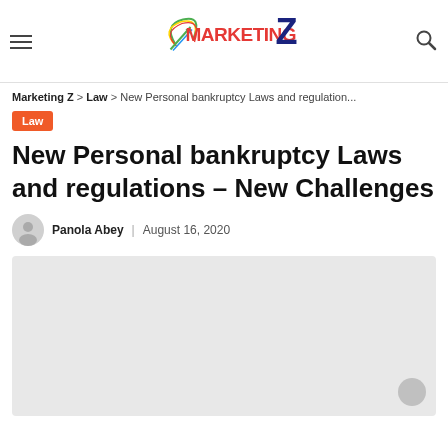Marketing Z — site header with hamburger menu, logo, and search icon
Marketing Z > Law > New Personal bankruptcy Laws and regulation...
Law
New Personal bankruptcy Laws and regulations – New Challenges
Panola Abey | August 16, 2020
[Figure (photo): Gray placeholder hero image for article]